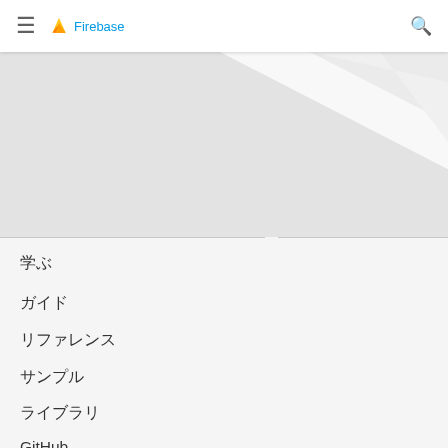Firebase
[Figure (screenshot): Firebase website navigation menu open on mobile, showing diagonal striped background hero area]
学ぶ
ガイド
リファレンス
サンプル
ライブラリ
GitHub
つながる
ブログ